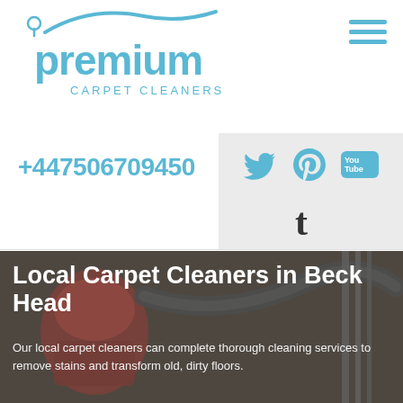[Figure (logo): Premium Carpet Cleaners logo in light blue with wave/swoosh graphic and location pin icon]
[Figure (other): Hamburger menu icon (three horizontal lines) in light blue, top right corner]
+447506709450
[Figure (other): Social media icons: Twitter bird, Pinterest P, YouTube logo, Tumblr t — all in light blue on light grey background]
Local Carpet Cleaners in Beck Head
Our local carpet cleaners can complete thorough cleaning services to remove stains and transform old, dirty floors.